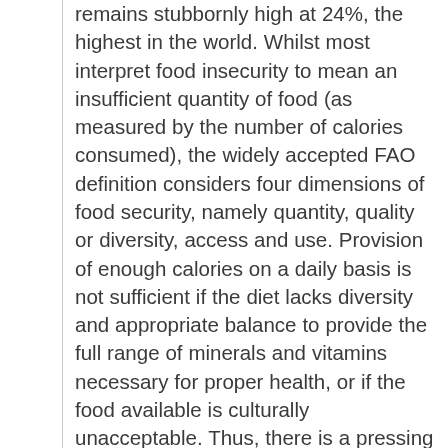remains stubbornly high at 24%, the highest in the world. Whilst most interpret food insecurity to mean an insufficient quantity of food (as measured by the number of calories consumed), the widely accepted FAO definition considers four dimensions of food security, namely quantity, quality or diversity, access and use. Provision of enough calories on a daily basis is not sufficient if the diet lacks diversity and appropriate balance to provide the full range of minerals and vitamins necessary for proper health, or if the food available is culturally unacceptable. Thus, there is a pressing need for more nuanced analyses of food security against all four of the dimensions embedded in the concept. Additionally, it is important that these be measured at more local or regional levels because national statistics can mask alarming regional discrepancies in food security, or amongst particular sectors of society, such as recent migrants, refugees, female- or child-headed households, those vulnerable to HIV/AIDS or the landless, to mention just a few. For example, at a national level South Africa is considered a food